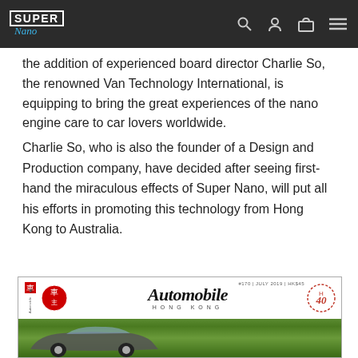Super Nano [navigation bar with logo and icons]
the addition of experienced board director Charlie So, the renowned Van Technology International, is equipping to bring the great experiences of the nano engine care to car lovers worldwide.
Charlie So, who is also the founder of a Design and Production company, have decided after seeing first-hand the miraculous effects of Super Nano, will put all his efforts in promoting this technology from Hong Kong to Australia.
[Figure (photo): Cover of Automobile Hong Kong magazine, issue #170, July 2019, HK$45. Features the Automobile Hong Kong script logo with a 40th anniversary badge, and a car photo with trees in background.]